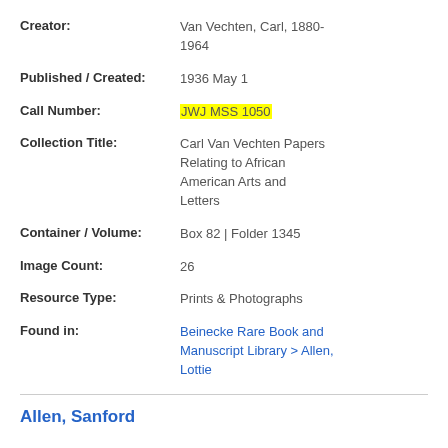Creator: Van Vechten, Carl, 1880-1964
Published / Created: 1936 May 1
Call Number: JWJ MSS 1050
Collection Title: Carl Van Vechten Papers Relating to African American Arts and Letters
Container / Volume: Box 82 | Folder 1345
Image Count: 26
Resource Type: Prints & Photographs
Found in: Beinecke Rare Book and Manuscript Library > Allen, Lottie
Allen, Sanford